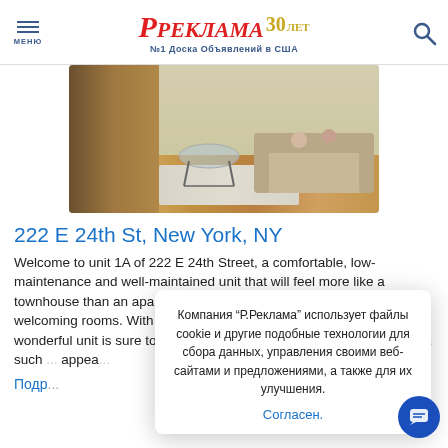РЕКЛАМА 30 ЛЕТ №1 Доска Объявлений в США
[Figure (photo): Interior photo of a living room with hardwood floors, a glass coffee table, a beige sofa with decorative pillows, and a hallway in the background.]
222 E 24th St, New York, NY
Welcome to unit 1A of 222 E 24th Street, a comfortable, low-maintenance and well-maintained unit that will feel more like a townhouse than an apartment thanks to its spacious design and welcoming rooms. With all you could need for easy city living, this wonderful unit is sure to capture the attention of many... plus it offers... such... appear...
Подр...
Компания "Р.Реклама" использует файлы cookie и другие подобные технологии для сбора данных, управления своими веб-сайтами и предложениями, а также для их улучшения. Согласен.